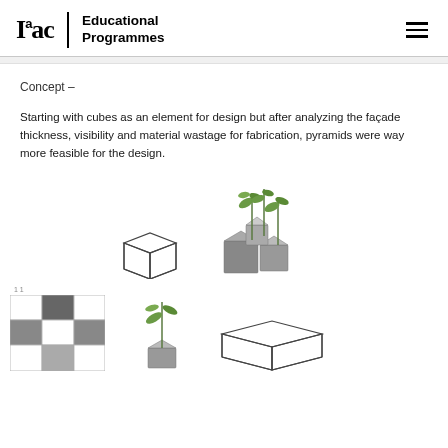Iaac | Educational Programmes
Concept –
Starting with cubes as an element for design but after analyzing the façade thickness, visibility and material wastage for fabrication, pyramids were way more feasible for the design.
[Figure (illustration): Wireframe cube outline drawing]
[Figure (illustration): 3D rendered grey cube blocks with green plants/bamboo growing from them]
[Figure (illustration): Grid pattern showing black, white and grey squares arrangement]
[Figure (illustration): Green bamboo plant with grey cube base, smaller scale]
[Figure (illustration): Wireframe cube outline drawing, smaller scale]